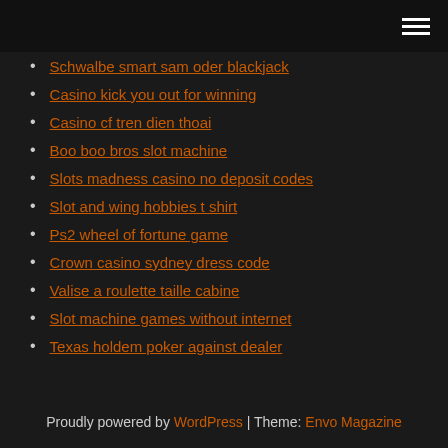Schwalbe smart sam oder blackjack
Casino kick you out for winning
Casino cf tren dien thoai
Boo boo bros slot machine
Slots madness casino no deposit codes
Slot and wing hobbies t shirt
Ps2 wheel of fortune game
Crown casino sydney dress code
Valise a roulette taille cabine
Slot machine games without internet
Texas holdem poker against dealer
Proudly powered by WordPress | Theme: Envo Magazine